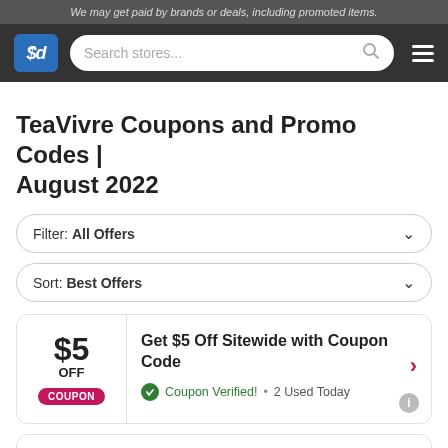We may get paid by brands or deals, including promoted items.
[Figure (logo): SlickDeals logo with $d on blue background and search bar navigation]
TeaVivre Coupons and Promo Codes | August 2022
Filter: All Offers
Sort: Best Offers
$5 OFF COUPON — Get $5 Off Sitewide with Coupon Code — Coupon Verified! • 2 Used Today